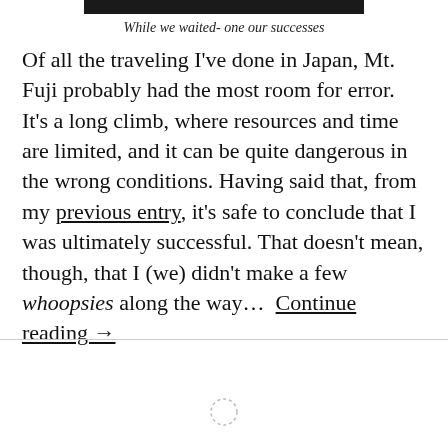[Figure (other): Black rectangular bar at top of page, partial image header]
While we waited- one our successes
Of all the traveling I've done in Japan, Mt. Fuji probably had the most room for error. It's a long climb, where resources and time are limited, and it can be quite dangerous in the wrong conditions. Having said that, from my previous entry, it's safe to conclude that I was ultimately successful. That doesn't mean, though, that I (we) didn't make a few whoopsies along the way…  Continue reading →
[Figure (other): Loading spinner icon at bottom center of page]